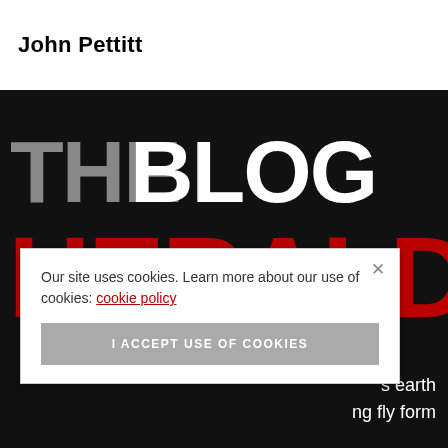John Pettitt
[Figure (logo): The Blog Herald logo on black background with large text: 'THE BLOG' in grey/white and 'HERALD' in red, bold block letters]
Our site uses cookies. Learn more about our use of cookies: cookie policy
I ACCEPT USE OF COOKIES
s earth
ng fly form